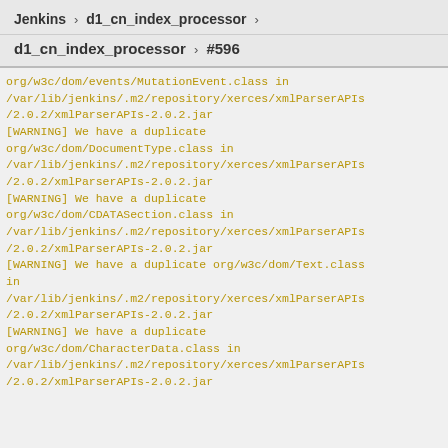Jenkins › d1_cn_index_processor ›
d1_cn_index_processor › #596
org/w3c/dom/events/MutationEvent.class in /var/lib/jenkins/.m2/repository/xerces/xmlParserAPIs/2.0.2/xmlParserAPIs-2.0.2.jar
[WARNING] We have a duplicate org/w3c/dom/DocumentType.class in /var/lib/jenkins/.m2/repository/xerces/xmlParserAPIs/2.0.2/xmlParserAPIs-2.0.2.jar
[WARNING] We have a duplicate org/w3c/dom/CDATASection.class in /var/lib/jenkins/.m2/repository/xerces/xmlParserAPIs/2.0.2/xmlParserAPIs-2.0.2.jar
[WARNING] We have a duplicate org/w3c/dom/Text.class in /var/lib/jenkins/.m2/repository/xerces/xmlParserAPIs/2.0.2/xmlParserAPIs-2.0.2.jar
[WARNING] We have a duplicate org/w3c/dom/CharacterData.class in /var/lib/jenkins/.m2/repository/xerces/xmlParserAPIs/2.0.2/xmlParserAPIs-2.0.2.jar
/2.0.2/xmlParserAPIs-2.0.2.jar